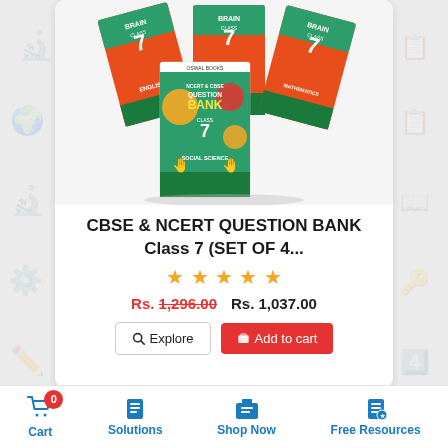[Figure (photo): Four colorful NCERT & CBSE Question Bank books for Class 7 (English, Science, Mathematics, Social Science) displayed in a fan arrangement, with the Social Science book in front showing 'NCERT & CBSE QUESTION BANK Class 7 Social Science']
CBSE & NCERT QUESTION BANK Class 7 (SET OF 4...
★★★★★
Rs. 1,296.00   Rs. 1,037.00
Explore  Add to cart
Cart 0  Solutions  Shop Now  Free Resources